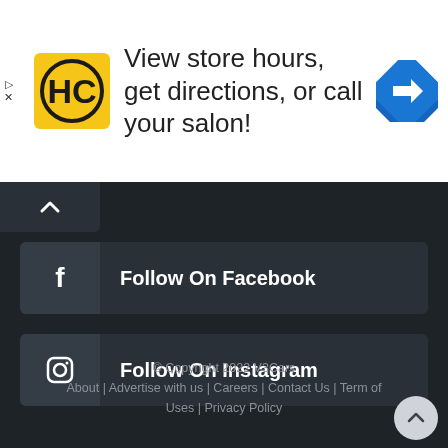[Figure (infographic): HC (Haircut) brand ad banner with logo, text 'View store hours, get directions, or call your salon!' and a blue directions icon]
Follow On Facebook
Follow On Instagram
Follow On Twitter
© Copyright 2022 V3Cars
About | Advertise with us | Careers | Contact Us | Term of Uses | Privacy Policy